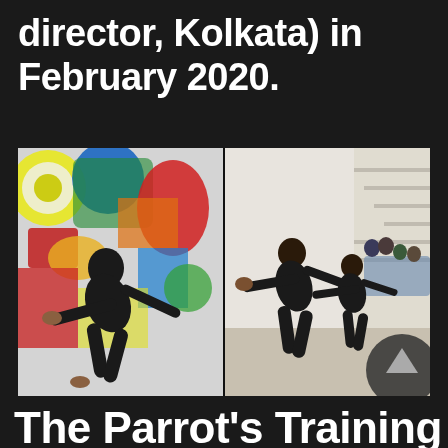director, Kolkata) in February 2020.
[Figure (photo): Two side-by-side photographs: left shows a man in black clothing performing a dynamic movement/dance pose in front of a colorful mural with abstract art; right shows multiple people in black clothing performing similar movement/martial art poses outdoors near a staircase, with spectators watching. A scroll-up circle arrow button overlaps the bottom-right corner of the photos.]
The Parrot's Training i